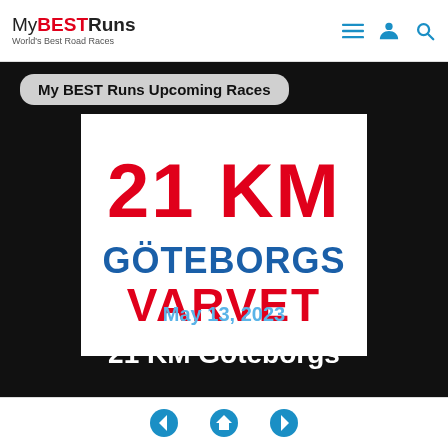MyBESTRuns — World's Best Road Races
My BEST Runs Upcoming Races
[Figure (logo): 21 KM Göteborgs Varvet race logo — large red bold '21 KM' text on top, blue bold 'GÖTEBORGS' in middle, red bold 'VARVET' at bottom, on white background]
May 13, 2023
21 KM Goteborgs
Navigation: previous, home, next